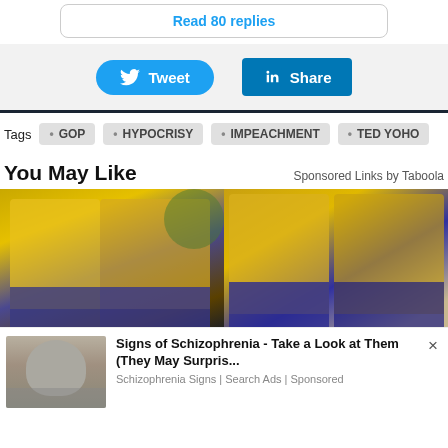Read 80 replies
[Figure (screenshot): Tweet and LinkedIn Share buttons on a light gray background]
Tags  • GOP  • HYPOCRISY  • IMPEACHMENT  • TED YOHO
You May Like
Sponsored Links by Taboola
[Figure (photo): Two women in yellow polo shirts and blue aprons, house cleaning service workers, outdoor and indoor shots side by side]
[Figure (photo): Ad popup: Signs of Schizophrenia - Take a Look at Them (They May Surpris... | Schizophrenia Signs | Search Ads | Sponsored, with a photo of a distressed elderly woman]